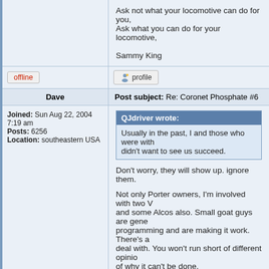Ask not what your locomotive can do for you, Ask what you can do for your locomotive,

Sammy King
offline
profile
Dave
Post subject: Re: Coronet Phosphate #6
Joined: Sun Aug 22, 2004 7:19 am
Posts: 6256
Location: southeastern USA
QJdriver wrote:
Usually in the past, I and those who were with didn't want to see us succeed.
Don't worry, they will show up. ignore them.
Not only Porter owners, I'm involved with two V and some Alcos also. Small goat guys are gene programming and are making it work. There's a deal with. You won't run short of different opinio of why it can't be done.
Have fun with it - otherwise, why bother?